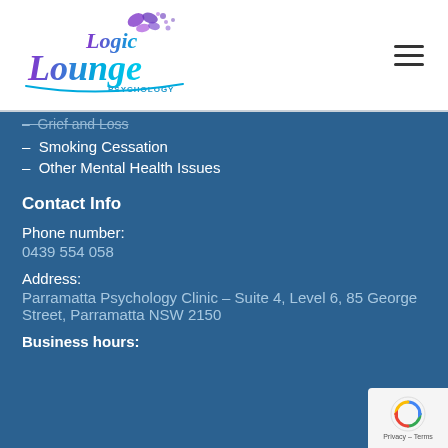[Figure (logo): Logic Lounge Psychology logo with butterfly graphic and teal/purple cursive lettering]
Grief and Loss
Smoking Cessation
Other Mental Health Issues
Contact Info
Phone number:
0439 554 058
Address:
Parramatta Psychology Clinic – Suite 4, Level 6, 85 George Street, Parramatta NSW 2150
Business hours: